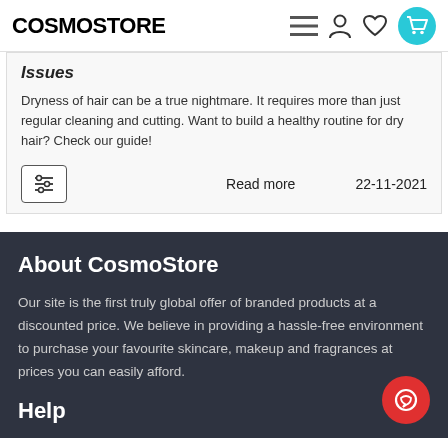COSMOSTORE
Issues
Dryness of hair can be a true nightmare. It requires more than just regular cleaning and cutting. Want to build a healthy routine for dry hair? Check our guide!
Read more   22-11-2021
About CosmoStore
Our site is the first truly global offer of branded products at a discounted price. We believe in providing a hassle-free environment to purchase your favourite skincare, makeup and fragrances at prices you can easily afford.
Help